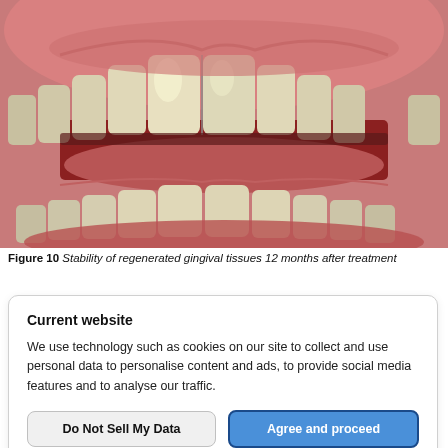[Figure (photo): Close-up intraoral photograph showing upper and lower front teeth with healthy gingival tissues, 12 months after periodontal treatment. Teeth appear well-aligned with pink, stable gingival tissue visible.]
Figure 10 Stability of regenerated gingival tissues 12 months after treatment
Current website
We use technology such as cookies on our site to collect and use personal data to personalise content and ads, to provide social media features and to analyse our traffic.
Do Not Sell My Data
Agree and proceed
Powered by OniConsent